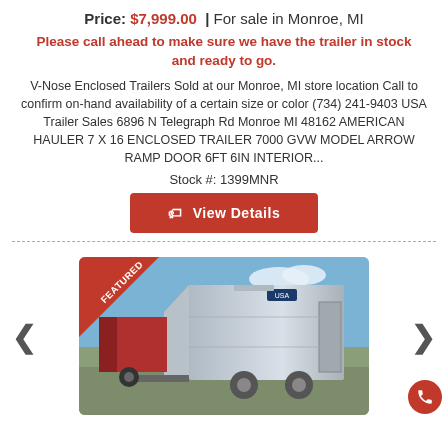Price: $7,999.00 | For sale in Monroe, MI
Please call ahead to make sure we have the trailer in stock and ready to go.
V-Nose Enclosed Trailers Sold at our Monroe, MI store location Call to confirm on-hand availability of a certain size or color (734) 241-9403 USA Trailer Sales 6896 N Telegraph Rd Monroe MI 48162 AMERICAN HAULER 7 X 16 ENCLOSED TRAILER 7000 GVW MODEL ARROW RAMP DOOR 6FT 6IN INTERIOR...
Stock #: 1399MNR
View Details
[Figure (photo): Silver enclosed V-nose trailer with FEATURED banner in top-left corner, shown in a lot. Navigation arrows on left and right sides. Call button in bottom-right.]